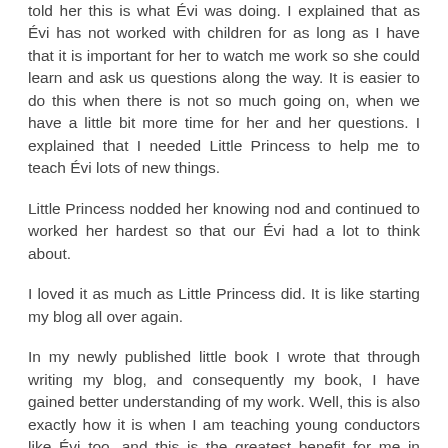told her this is what Évi was doing. I explained that as Évi has not worked with children for as long as I have that it is important for her to watch me work so she could learn and ask us questions along the way. It is easier to do this when there is not so much going on, when we have a little bit more time for her and her questions. I explained that I needed Little Princess to help me to teach Évi lots of new things.
Little Princess nodded her knowing nod and continued to worked her hardest so that our Évi had a lot to think about.
I loved it as much as Little Princess did. It is like starting my blog all over again.
In my newly published little book I wrote that through writing my blog, and consequently my book, I have gained better understanding of my work. Well, this is also exactly how it is when I am teaching young conductors like Évi too, and this is the greatest benefit for me in having Évi working beside me.
It is great to be questioned and then to search for the answers, or to find the answers together. It is a great experience for us all when our clients, however young or old